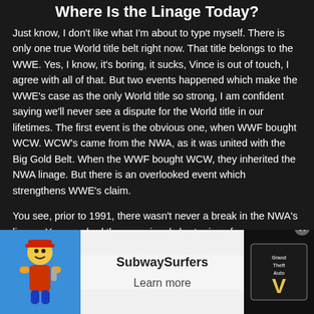Where Is the Linage Today?
Just know, I don't like what I'm about to type myself. There is only one true World title belt right now. That title belongs to the WWE. Yes, I know, it's boring, it sucks, Vince is out of touch, I agree with all of that. But two events happened which make the WWE's case as the only World title so strong, I am confident saying we'll never see a dispute for the World title in our lifetimes. The first event is the obvious one, when WWF bought WCW. WCW's came from the NWA, as it was united with the Big Gold Belt. When the WWF bought WCW, they inherited the NWA linage. But there is an overlooked event which strengthens WWE's claim.
You see, prior to 1991, there wasn't never a break in the NWA's linage. Yes, you had the occasional short reigns for...
[Figure (other): Advertisement banner at bottom of page. Left side shows Subway Surfers game character. Center shows app name 'SubwaySurfers' and 'Learn more' button. Right side shows Grand Theft Auto 5 logo/image. Close button (x) visible top right of ad.]